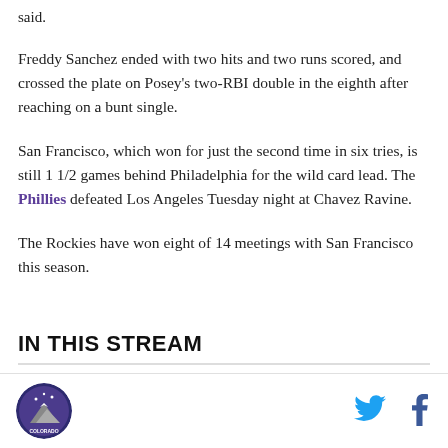said.
Freddy Sanchez ended with two hits and two runs scored, and crossed the plate on Posey's two-RBI double in the eighth after reaching on a bunt single.
San Francisco, which won for just the second time in six tries, is still 1 1/2 games behind Philadelphia for the wild card lead. The Phillies defeated Los Angeles Tuesday night at Chavez Ravine.
The Rockies have won eight of 14 meetings with San Francisco this season.
IN THIS STREAM
[Figure (logo): Colorado Rockies team logo in a circular badge]
[Figure (illustration): Twitter bird icon in cyan]
[Figure (illustration): Facebook 'f' icon in dark blue]